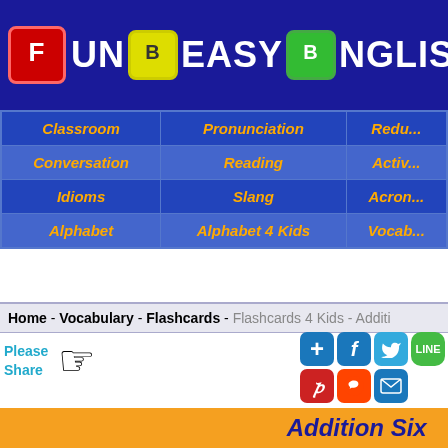Fun Easy English
| Classroom | Pronunciation | Redu... |
| --- | --- | --- |
| Conversation | Reading | Activ... |
| Idioms | Slang | Acron... |
| Alphabet | Alphabet 4 Kids | Vocab... |
Home - Vocabulary - Flashcards - Flashcards 4 Kids - Additi...
Please Share
Addition Six ...
Flashcards...
In this lesson y... your English. I...